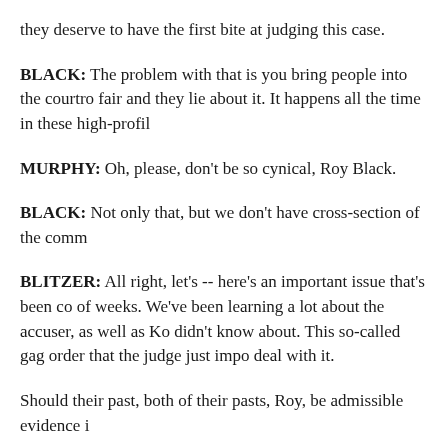they deserve to have the first bite at judging this case.
BLACK: The problem with that is you bring people into the courtro fair and they lie about it. It happens all the time in these high-profil
MURPHY: Oh, please, don't be so cynical, Roy Black.
BLACK: Not only that, but we don't have cross-section of the comm
BLITZER: All right, let's -- here's an important issue that's been co of weeks. We've been learning a lot about the accuser, as well as Ko didn't know about. This so-called gag order that the judge just impo deal with it.
Should their past, both of their pasts, Roy, be admissible evidence i